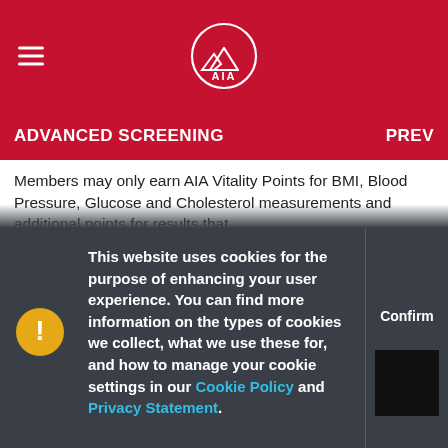AIA logo header with hamburger menu
ADVANCED SCREENING   PREV
Members may only earn AIA Vitality Points for BMI, Blood Pressure, Glucose and Cholesterol measurements and additional points for results that
This website uses cookies for the purpose of enhancing your user experience. You can find more information on the types of cookies we collect, what we use these for, and how to manage your cookie settings in our Cookie Policy and Privacy Statement.
Confirm